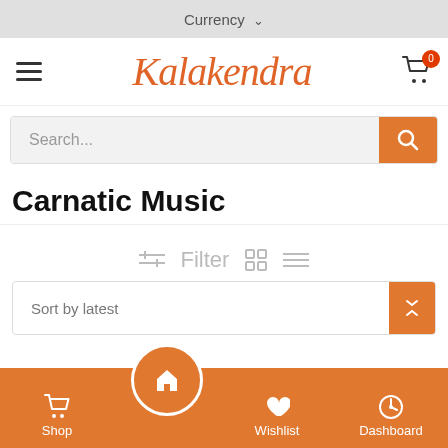Currency ▾
[Figure (logo): Kalakendra logo in orange cursive script with hamburger menu on left and shopping cart icon with badge '0' on right]
Search...
Carnatic Music
Filter
Sort by latest
Shop  Home  Wishlist  Dashboard